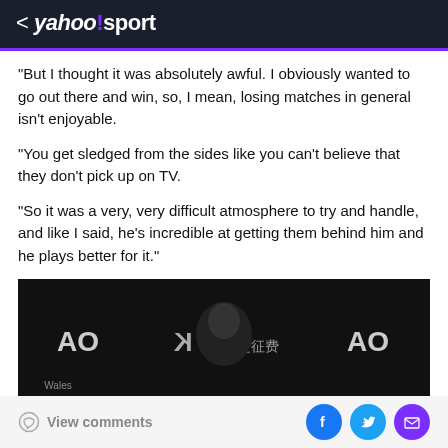< yahoo!sport
"But I thought it was absolutely awful. I obviously wanted to go out there and win, so, I mean, losing matches in general isn't enjoyable.
“You get sledged from the sides like you can't believe that they don’t pick up on TV.
"So it was a very, very difficult atmosphere to try and handle, and like I said, he's incredible at getting them behind him and he plays better for it."
[Figure (photo): Press conference photo with person in front of Australian Open branded backdrop showing AO logos]
View comments